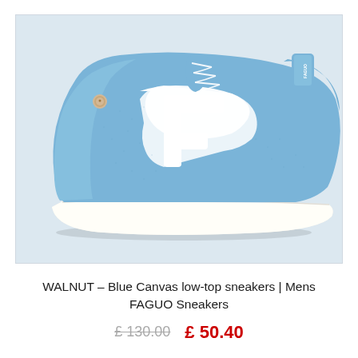[Figure (photo): A light blue canvas low-top sneaker (FAGUO WALNUT) shown from the side. The shoe features a large white F-shaped logo on the side panel, white laces, white rubber sole, and a small gold button detail on the heel tab. The background is light blue-grey.]
WALNUT – Blue Canvas low-top sneakers | Mens FAGUO Sneakers
£ 130.00   £ 50.40